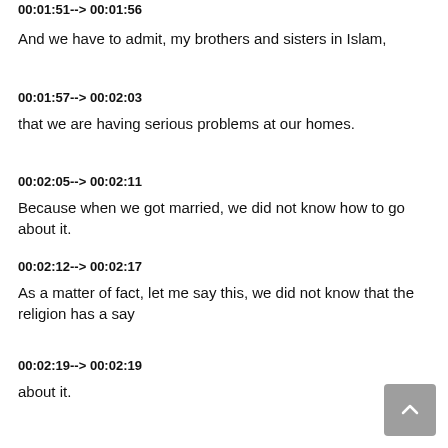00:01:51--> 00:01:56
And we have to admit, my brothers and sisters in Islam,
00:01:57--> 00:02:03
that we are having serious problems at our homes.
00:02:05--> 00:02:11
Because when we got married, we did not know how to go about it.
00:02:12--> 00:02:17
As a matter of fact, let me say this, we did not know that the religion has a say
00:02:19--> 00:02:19
about it.